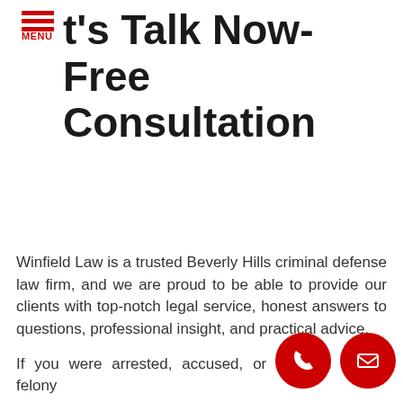MENU
t's Talk Now- Free Consultation
Winfield Law is a trusted Beverly Hills criminal defense law firm, and we are proud to be able to provide our clients with top-notch legal service, honest answers to questions, professional insight, and practical advice.
If you were arrested, accused, or charged with a felony